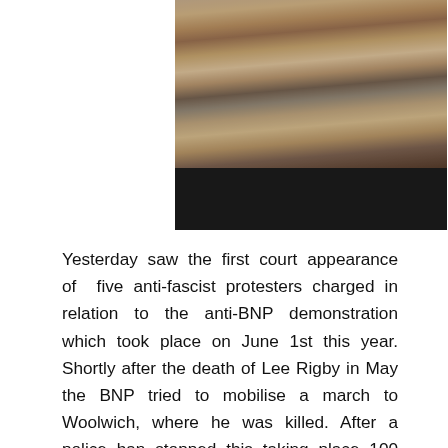[Figure (photo): Photo of a crowd of protesters, partially obscured by a black bar at the bottom]
Yesterday saw the first court appearance of five anti-fascist protesters charged in relation to the anti-BNP demonstration which took place on June 1st this year. Shortly after the death of Lee Rigby in May the BNP tried to mobilise a march to Woolwich, where he was killed. After a police ban stopped this taking place 100 BNP members rallied in Whitehall instead, attempting to march on the Cenotaph war memorial. Hundreds of anti-fascists organised on the day, massively outnumbering the fascists and preventing them from marching.
The police used aggressive tactics on the day, arresting 58